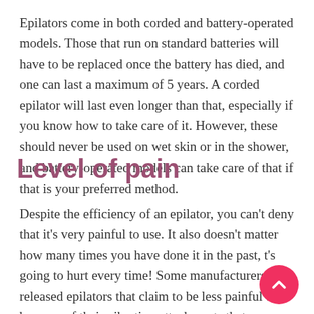Epilators come in both corded and battery-operated models. Those that run on standard batteries will have to be replaced once the battery has died, and one can last a maximum of 5 years. A corded epilator will last even longer than that, especially if you know how to take care of it. However, these should never be used on wet skin or in the shower, and battery-operated models can take care of that if that is your preferred method.
Level of pain
Despite the efficiency of an epilator, you can't deny that it's very painful to use. It also doesn't matter how many times you have done it in the past, t's going to hurt every time! Some manufacturers have released epilators that claim to be less painful to because of their vibrating attachments that